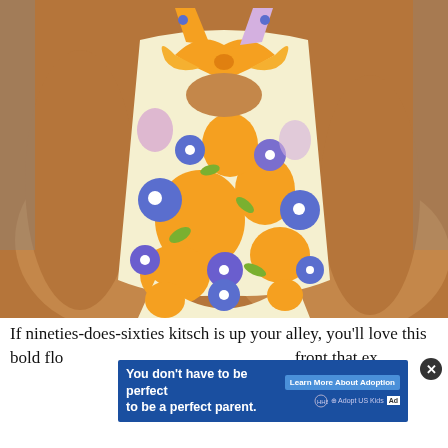[Figure (photo): Close-up photo of a person wearing a colorful retro floral one-piece swimsuit with orange, blue, purple and yellow daisy patterns, featuring a knotted front cutout detail. The person is seated on a light surface.]
If nineties-does-sixties kitsch is up your alley, you'll love this bold flo[ral swimsuit with a knotted bow at the] front that ex[poses the midriff—a detail that will make] you
[Figure (infographic): Advertisement overlay banner with blue background. Text reads: 'You don't have to be perfect to be a perfect parent.' Button: 'Learn More About Adoption'. Logos: HHS and Adopt US Kids. Ad label shown.]